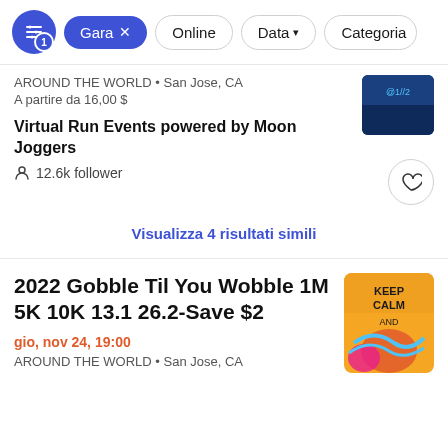Filter bar with: filter icon (1), Gara x, Online, Data, Categoria
AROUND THE WORLD • San Jose, CA
A partire da 16,00 $
Virtual Run Events powered by Moon Joggers
12.6k follower
Visualizza 4 risultati simili
2022 Gobble Til You Wobble 1M 5K 10K 13.1 26.2-Save $2
gio, nov 24, 19:00
AROUND THE WORLD • San Jose, CA